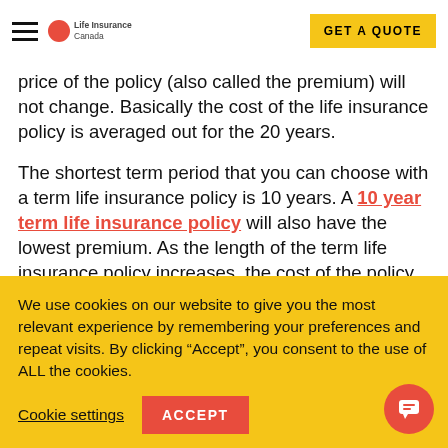Life Insurance Canada | GET A QUOTE
price of the policy (also called the premium) will not change. Basically the cost of the life insurance policy is averaged out for the 20 years.
The shortest term period that you can choose with a term life insurance policy is 10 years. A 10 year term life insurance policy will also have the lowest premium. As the length of the term life insurance policy increases, the cost of the policy will also increase.
We use cookies on our website to give you the most relevant experience by remembering your preferences and repeat visits. By clicking “Accept”, you consent to the use of ALL the cookies.
Cookie settings   ACCEPT